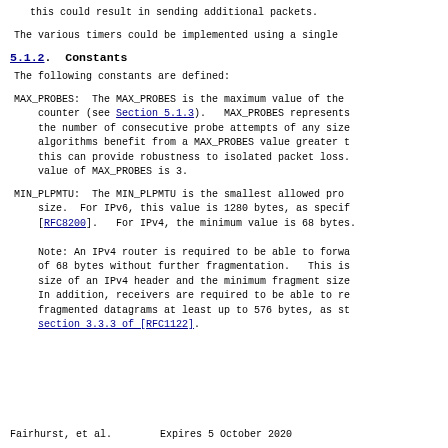this could result in sending additional packets.
The various timers could be implemented using a single
5.1.2.  Constants
The following constants are defined:
MAX_PROBES:  The MAX_PROBES is the maximum value of the counter (see Section 5.1.3).  MAX_PROBES represents the number of consecutive probe attempts of any size algorithms benefit from a MAX_PROBES value greater t this can provide robustness to isolated packet loss. value of MAX_PROBES is 3.
MIN_PLPMTU:  The MIN_PLPMTU is the smallest allowed pro size.  For IPv6, this value is 1280 bytes, as specif [RFC8200].  For IPv4, the minimum value is 68 bytes. Note: An IPv4 router is required to be able to forwa of 68 bytes without further fragmentation.  This is size of an IPv4 header and the minimum fragment size In addition, receivers are required to be able to re fragmented datagrams at least up to 576 bytes, as st section 3.3.3 of [RFC1122].
Fairhurst, et al.        Expires 5 October 2020